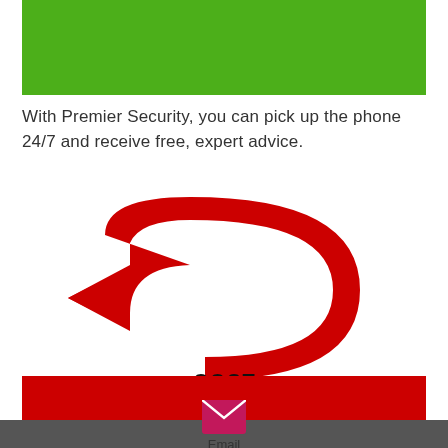[Figure (other): Green banner/bar at the top of the page]
With Premier Security, you can pick up the phone 24/7 and receive free, expert advice.
[Figure (illustration): Red U-turn arrow icon pointing left with the label COST beneath it]
[Figure (other): Red rectangular banner]
[Figure (other): Dark grey rectangular banner below the red one]
[Figure (illustration): Pink/magenta email envelope icon with the label Email beneath it]